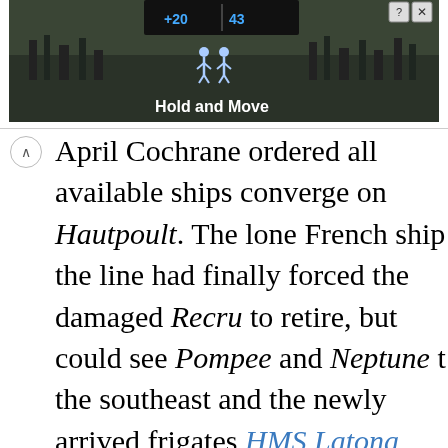[Figure (screenshot): Advertisement banner showing a dark outdoor scene with trees, a scoreboard showing '+20' and '43', two human figures, and the text 'Hold and Move'. Has a help (?) button and close (X) button in the top right.]
April Cochrane ordered all available ships converge on Hautpoult. The lone French ship the line had finally forced the damaged Recru to retire, but could see Pompee and Neptune t the southeast and the newly arrived frigates HMS Latona under Captain Hugh Pigot and HMS Castor under Captain William Roberts to the northeast, with the Spanish coast of Puer Rico directly north.[m] During the day the chas